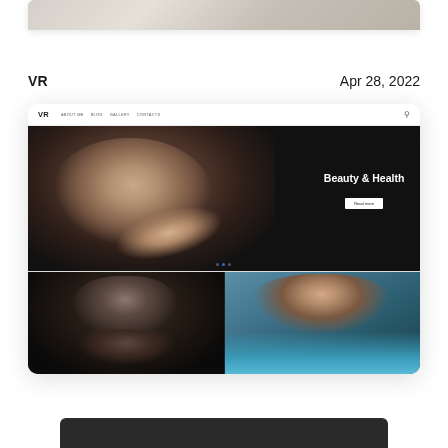[Figure (screenshot): Partial top strip of a website screenshot showing a light beige/neutral interior or fashion background, cropped at top of page]
VR
Apr 28, 2022
[Figure (screenshot): Screenshot of VR website with navigation bar (VR logo, ABOUT ME, BLOG, GALLERY, CONTACTS, search icon), hero image of a woman with closed eyes touching her face against dark background with 'Beauty & Health' text and 'Read more' button, and a bottom grid with two photo panels — left: black and white portrait of woman resting chin on hand, right: color photo of woman in blue/teal outfit against teal background]
[Figure (screenshot): Partial dark-colored website strip visible at bottom of page, appears to be the top of another website card]